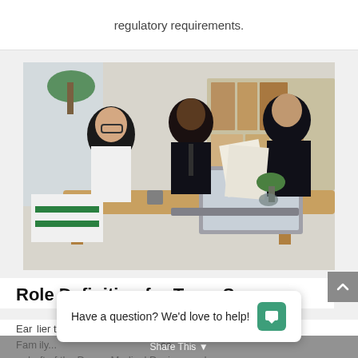regulatory requirements.
[Figure (photo): A diverse group of business professionals sitting around a table in an office meeting, reviewing documents. One woman wearing a hijab and glasses, one Black man in a suit, and one South Asian man in a suit handling papers. A laptop is open on the table along with plants and documents.]
Role Definition for Team Success
Earlier this year, the Minister of Health and Family... a draft of the Drugs, Medical Devices and
Have a question? We'd love to help!